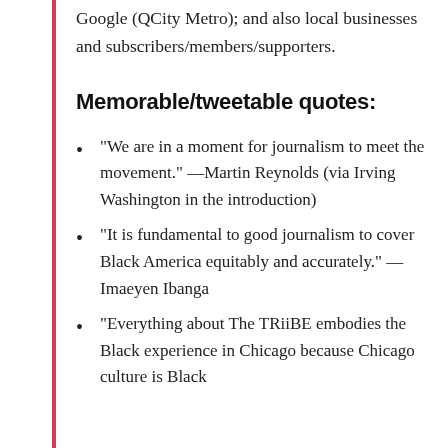Google (QCity Metro); and also local businesses and subscribers/members/supporters.
Memorable/tweetable quotes:
“We are in a moment for journalism to meet the movement.” —Martin Reynolds (via Irving Washington in the introduction)
“It is fundamental to good journalism to cover Black America equitably and accurately.” —Imaeyen Ibanga
“Everything about The TRiiBE embodies the Black experience in Chicago because Chicago culture is Black